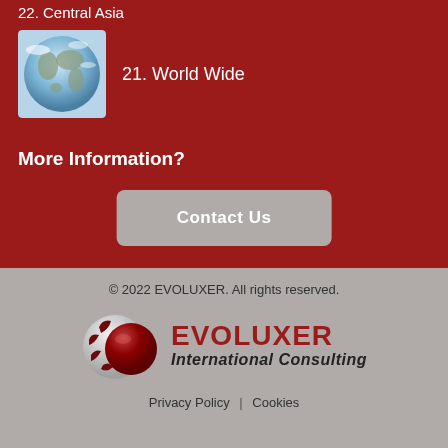22. Central Asia
21. World Wide
More Information?
Contact Us
© 2022 EVOLUXER. All rights reserved.
[Figure (logo): EVOLUXER International Consulting logo with globe and company name]
Privacy Policy | Cookies